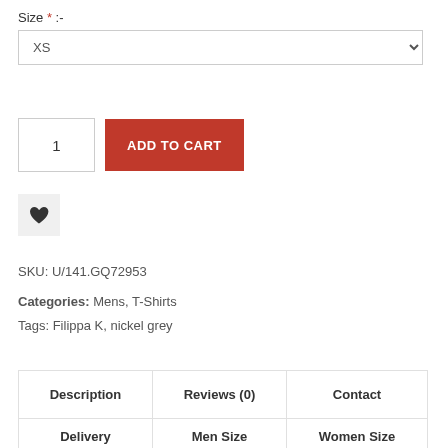Size * :-
XS (dropdown)
1 (quantity) | ADD TO CART
[Figure (illustration): Heart/wishlist icon button]
SKU: U/141.GQ72953
Categories: Mens, T-Shirts
Tags: Filippa K, nickel grey
| Description | Reviews (0) | Contact |
| --- | --- | --- |
| Delivery | Men Size | Women Size |
| --- | --- | --- |